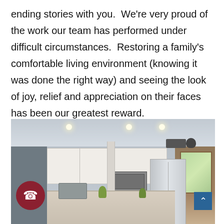ending stories with you.  We're very proud of the work our team has performed under difficult circumstances.  Restoring a family's comfortable living environment (knowing it was done the right way) and seeing the look of joy, relief and appreciation on their faces has been our greatest reward.
[Figure (photo): Photograph of a renovated kitchen interior with white cabinetry, stainless steel appliances, granite countertops, recessed lighting, and a center island.]